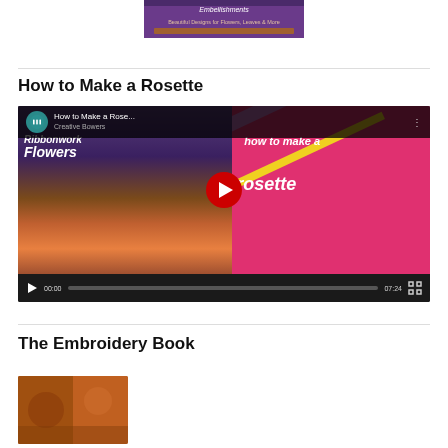[Figure (photo): Book cover image at top center showing embroidery/ribbonwork flowers with text 'Embellishments, Beautiful Designs for Flowers, Leaves & More']
How to Make a Rosette
[Figure (screenshot): YouTube video player showing 'How to Make a Rose...' tutorial video about ribbonwork flowers. Video shows book cover on left and pink background with 'how to make a rosette' text on right. Play button visible in center. Duration 07:24. Controls show 00:00 timestamp and progress bar.]
The Embroidery Book
[Figure (photo): Partial view of a book cover at bottom left with colorful embroidery designs]